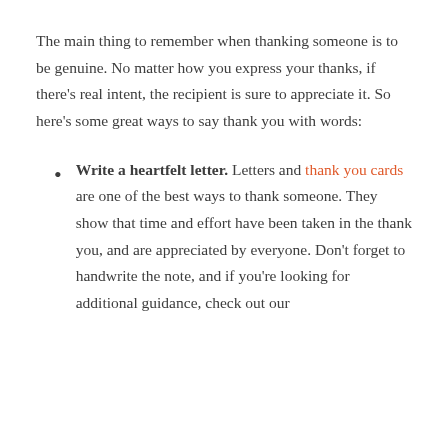The main thing to remember when thanking someone is to be genuine. No matter how you express your thanks, if there's real intent, the recipient is sure to appreciate it. So here's some great ways to say thank you with words:
Write a heartfelt letter. Letters and thank you cards are one of the best ways to thank someone. They show that time and effort have been taken in the thank you, and are appreciated by everyone. Don't forget to handwrite the note, and if you're looking for additional guidance, check out our